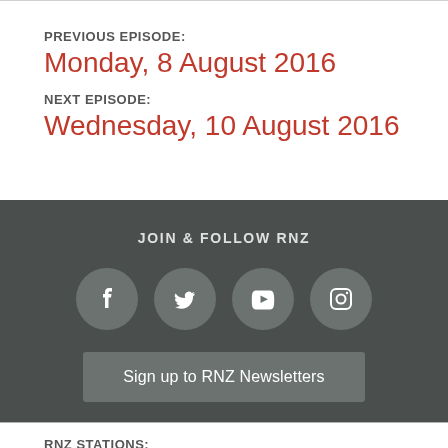PREVIOUS EPISODE:
Monday, 8 August 2016
NEXT EPISODE:
Wednesday, 10 August 2016
JOIN & FOLLOW RNZ
[Figure (infographic): Four social media icons in dark circular buttons: Facebook, Twitter, YouTube, Instagram]
Sign up to RNZ Newsletters
RNZ STATIONS: